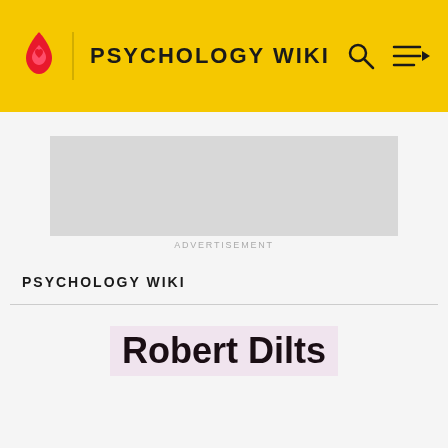PSYCHOLOGY WIKI
[Figure (other): Advertisement placeholder box (grey rectangle)]
ADVERTISEMENT
PSYCHOLOGY WIKI
Robert Dilts